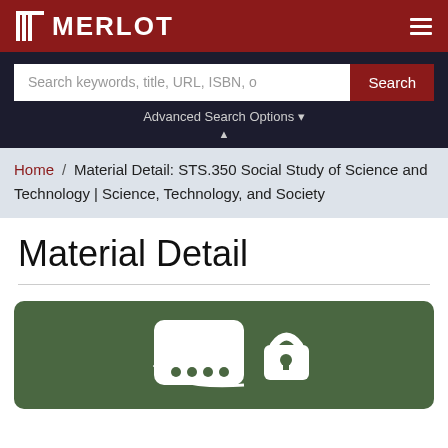MERLOT
Search keywords, title, URL, ISBN, o
Search
Advanced Search Options
Home / Material Detail: STS.350 Social Study of Science and Technology | Science, Technology, and Society
Material Detail
[Figure (screenshot): Green card with white icon showing a document/clipboard with dots and a lock symbol, representing online learning material]